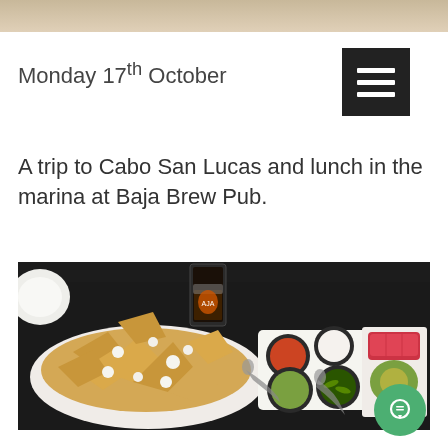[Figure (photo): Top partial image showing light-colored surface, cropped at top of page]
Monday 17th October
A trip to Cabo San Lucas and lunch in the marina at Baja Brew Pub.
[Figure (photo): Food photo showing a table at Baja Brew Pub with a plate of nachos/chips with white cheese on the left, a dark beer glass in the back center, condiment bowls (tomato, sour cream, guacamole, jalapeños) in the middle, and a platter of seared tuna with toppings on the right. Dark table surface.]